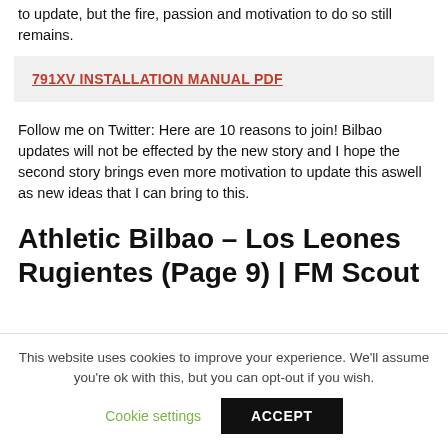to update, but the fire, passion and motivation to do so still remains.
791XV INSTALLATION MANUAL PDF
Follow me on Twitter: Here are 10 reasons to join! Bilbao updates will not be effected by the new story and I hope the second story brings even more motivation to update this aswell as new ideas that I can bring to this.
Athletic Bilbao – Los Leones Rugientes (Page 9) | FM Scout
This website uses cookies to improve your experience. We'll assume you're ok with this, but you can opt-out if you wish.
Cookie settings  ACCEPT